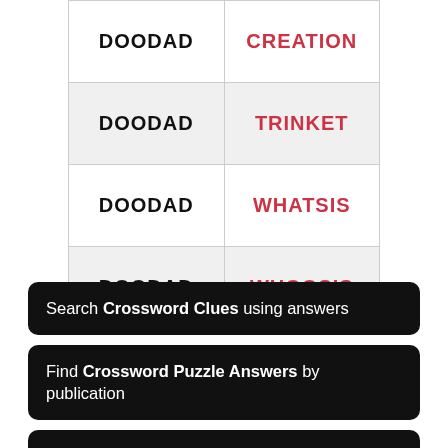| CLUE | ANSWER |
| --- | --- |
| DOODAD | CREATION |
| DOODAD | TRINKET |
| DOODAD | WHATSIS |
| DOODAD | WHOOSIS |
Search Crossword Clues using answers
Find Crossword Puzzle Answers by publication
Crossword Anagrams finds anagrams in clues